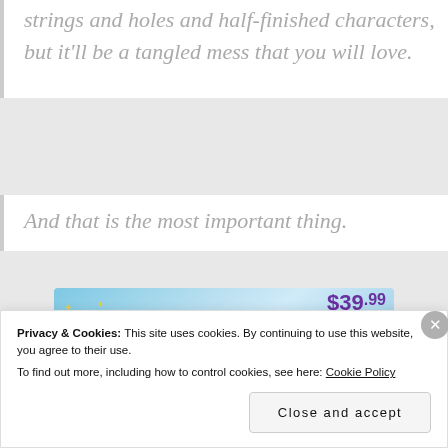strings and holes and half-finished characters, but it'll be a tangled mess that you will love.
And that is the most important thing.
[Figure (other): Tumblr Ad-Free Browsing advertisement banner showing $39.99 a year or $4.99 a month pricing]
Privacy & Cookies: This site uses cookies. By continuing to use this website, you agree to their use.
To find out more, including how to control cookies, see here: Cookie Policy